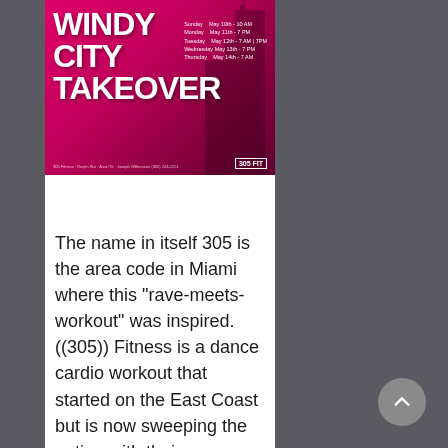[Figure (illustration): Promotional poster for 'Windy City Takeover' event with pink/magenta background, bold white title text, a dark building silhouette on the right, and a schedule listing Sunday through Thursday dates in May with times.]
The name in itself 305 is the area code in Miami where this “rave-meets-workout” was inspired. ((305)) Fitness is a dance cardio workout that started on the East Coast but is now sweeping the nation with their pop-up classes.